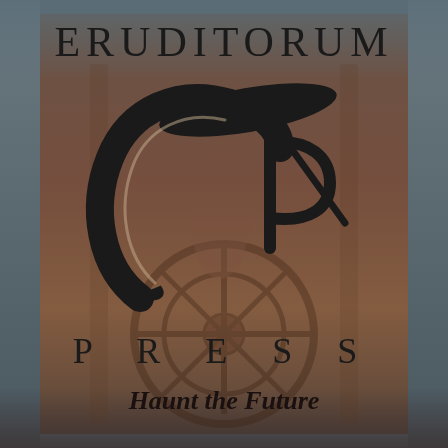[Figure (logo): Eruditorum Press logo page with a decorative background showing a mechanical/mystical scene in warm brownish-red tones. The page features the text ERUDITORUM at top, a stylized EP logo in the center, PRESS in spaced capitals below, and the tagline 'Haunt the Future' at the bottom.]
ERUDITORUM
PRESS
Haunt the Future